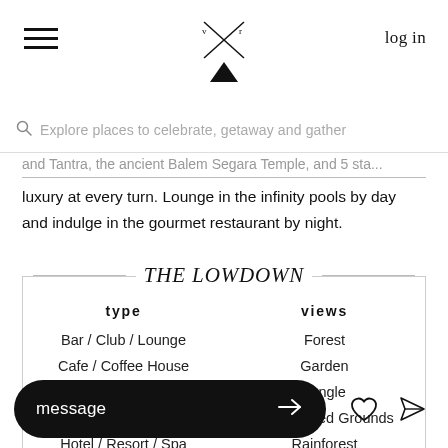log in
Explore places to celebrate, getaway and gather
and Tantra, the ancient Balem Segara Temple, and 5 star luxury at every turn. Lounge in the infinity pools by day and indulge in the gourmet restaurant by night.
THE LOWDOWN
| type | views |
| --- | --- |
| Bar / Club / Lounge | Forest |
| Cafe / Coffee House | Garden |
| Church / Chapel / Temple | Jungle |
| Hotel / Resort / Spa | Landscaped Grounds |
|  | Rainforest |
message